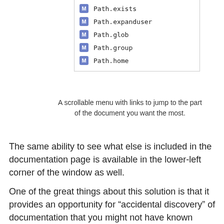[Figure (screenshot): A scrollable dropdown menu showing method entries: Path.exists, Path.expanduser, Path.glob, Path.group, Path.home — each prefixed with a blue 'M' badge icon]
A scrollable menu with links to jump to the part of the document you want the most.
The same ability to see what else is included in the documentation page is available in the lower-left corner of the window as well.
One of the great things about this solution is that it provides an opportunity for “accidental discovery” of documentation that you might not have known about.